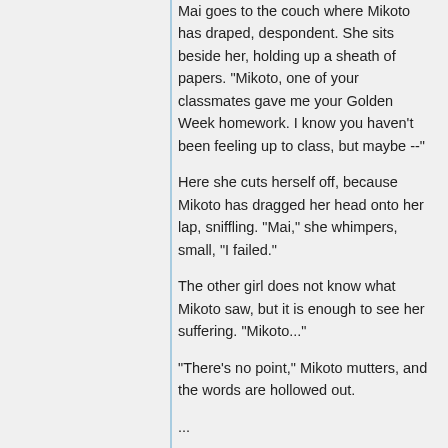Mai goes to the couch where Mikoto has draped, despondent. She sits beside her, holding up a sheath of papers. "Mikoto, one of your classmates gave me your Golden Week homework. I know you haven't been feeling up to class, but maybe --"
Here she cuts herself off, because Mikoto has dragged her head onto her lap, sniffling. "Mai," she whimpers, small, "I failed."
The other girl does not know what Mikoto saw, but it is enough to see her suffering. "Mikoto..."
"There's no point," Mikoto mutters, and the words are hollowed out.
...
When class comes back to session she is convinced to attend. In all aspects but